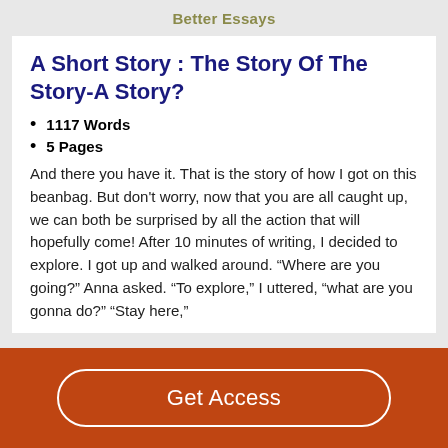Better Essays
A Short Story : The Story Of The Story-A Story?
1117 Words
5 Pages
And there you have it. That is the story of how I got on this beanbag. But don't worry, now that you are all caught up, we can both be surprised by all the action that will hopefully come! After 10 minutes of writing, I decided to explore. I got up and walked around. “Where are you going?” Anna asked. “To explore,” I uttered, “what are you gonna do?” “Stay here,”
Get Access